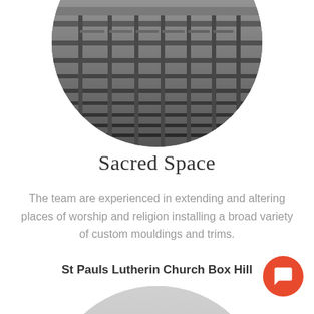[Figure (photo): Circular cropped black and white photo of church pews viewed from above/front]
Sacred Space
The team are experienced in extending and altering places of worship and religion installing a broad variety of custom mouldings and trims.
St Pauls Lutherin Church Box Hill
[Figure (photo): Circular cropped black and white photo of church exterior with trees against sky, with an orange chat button overlay]